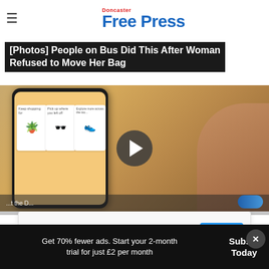Doncaster Free Press
[Photos] People on Bus Did This After Woman Refused to Move Her Bag
[Figure (screenshot): Screenshot of a smartphone showing a shopping app with cards: 'Keep shopping for' (plant), 'Pick up where you left off' (sunglasses), 'Explore more across the store' (shoe). A play button overlay is visible in the center.]
[Figure (other): Advertisement banner: Nota - Ranking Built For Law Firms, with OPEN button]
Get 70% fewer ads. Start your 2-month trial for just £2 per month
Subscribe Today